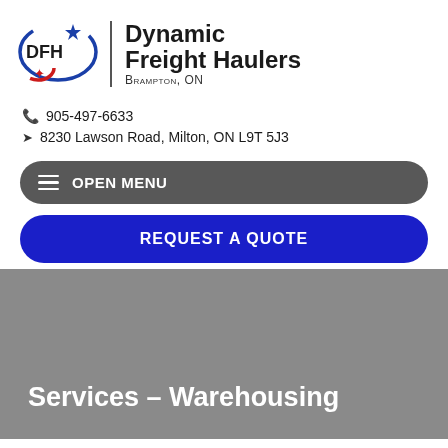[Figure (logo): DFH logo with blue star, red maple leaf, and swoosh design]
Dynamic Freight Haulers
Brampton, ON
905-497-6633
8230 Lawson Road, Milton, ON L9T 5J3
OPEN MENU
REQUEST A QUOTE
Services – Warehousing